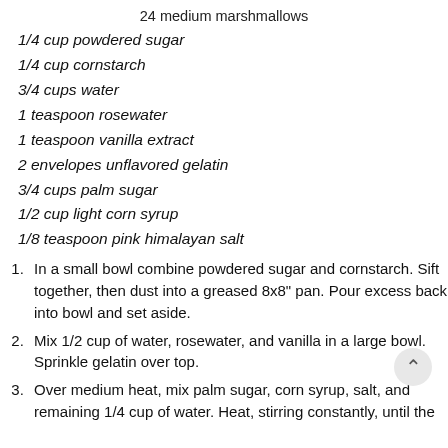24 medium marshmallows
1/4 cup powdered sugar
1/4 cup cornstarch
3/4 cups water
1 teaspoon rosewater
1 teaspoon vanilla extract
2 envelopes unflavored gelatin
3/4 cups palm sugar
1/2 cup light corn syrup
1/8 teaspoon pink himalayan salt
In a small bowl combine powdered sugar and cornstarch. Sift together, then dust into a greased 8x8" pan. Pour excess back into bowl and set aside.
Mix 1/2 cup of water, rosewater, and vanilla in a large bowl. Sprinkle gelatin over top.
Over medium heat, mix palm sugar, corn syrup, salt, and remaining 1/4 cup of water. Heat, stirring constantly, until the